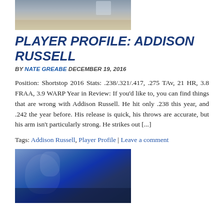[Figure (photo): Baseball player pitching on a dirt mound, partial view from above]
PLAYER PROFILE: ADDISON RUSSELL
BY NATE GREABE DECEMBER 19, 2016
Position: Shortstop 2016 Stats: .238/.321/.417, .275 TAv, 21 HR, 3.8 FRAA, 3.9 WARP Year in Review: If you'd like to, you can find things that are wrong with Addison Russell. He hit only .238 this year, and .242 the year before. His release is quick, his throws are accurate, but his arm isn't particularly strong. He strikes out [...]
Tags: Addison Russell, Player Profile | Leave a comment
[Figure (photo): Baseball catcher in blue Cubs uniform saluting or tipping cap, crowd in background]